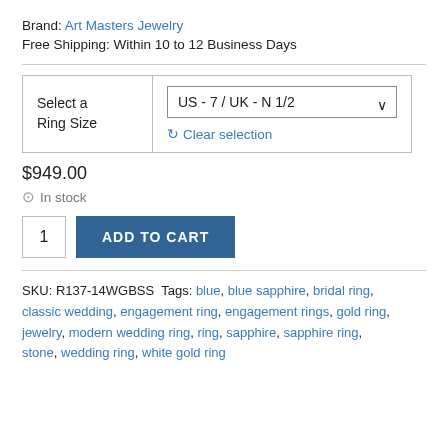Brand: Art Masters Jewelry
Free Shipping: Within 10 to 12 Business Days
| Select a Ring Size |  |
| --- | --- |
| Select a Ring Size | US - 7 / UK - N 1/2  ↓  Clear selection |
$949.00
⊙ In stock
SKU: R137-14WGBSS Tags: blue, blue sapphire, bridal ring, classic wedding, engagement ring, engagement rings, gold ring, jewelry, modern wedding ring, ring, sapphire, sapphire ring, stone, wedding ring, white gold ring